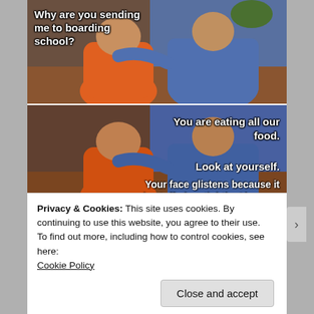[Figure (photo): A two-panel meme image showing two people sitting on a couch — a younger heavyset person in an orange hoodie and an older man in a blue sweater. Top panel text: 'Why are you sending me to boarding school?' Bottom panel text: 'You are eating all our food. Look at yourself. Your face glistens because it is stuffed so tightly. Also you']
Privacy & Cookies: This site uses cookies. By continuing to use this website, you agree to their use.
To find out more, including how to control cookies, see here:
Cookie Policy
Close and accept